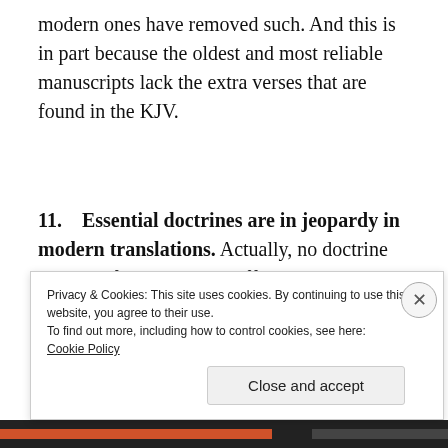modern ones have removed such. And this is in part because the oldest and most reliable manuscripts lack the extra verses that are found in the KJV.
11.    Essential doctrines are in jeopardy in modern translations. Actually, no doctrine essential for salvation is affected by translations, modern or ancient
Privacy & Cookies: This site uses cookies. By continuing to use this website, you agree to their use.
To find out more, including how to control cookies, see here: Cookie Policy